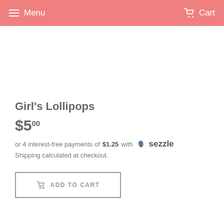Menu   Cart
Girl's Lollipops
$5.00
or 4 interest-free payments of $1.25 with Sezzle
Shipping calculated at checkout.
ADD TO CART